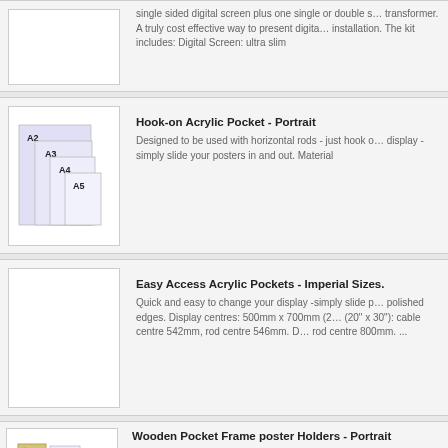single sided digital screen plus one single or double sided transformer. A truly cost effective way to present digital installation. The kit includes: Digital Screen: ultra slim
[Figure (photo): Empty white product image box for item above]
Hook-on Acrylic Pocket - Portrait
Designed to be used with horizontal rods - just hook on display - simply slide your posters in and out. Material
[Figure (photo): Acrylic pockets in A2, A3, A4, A5 portrait sizes shown in descending steps]
Easy Access Acrylic Pockets - Imperial Sizes.
Quick and easy to change your display -simply slide p polished edges. Display centres: 500mm x 700mm (20" x 30"): cable centre 542mm, rod centre 546mm. D rod centre 800mm. ...
[Figure (photo): Empty white product image box for Easy Access Acrylic Pockets]
Wooden Pocket Frame poster Holders - Portrait
Solid natural coloured beech frames that fit directly to should add to the page some coloured with the kind
[Figure (photo): Wooden pocket frame holder with hand inserting a poster]